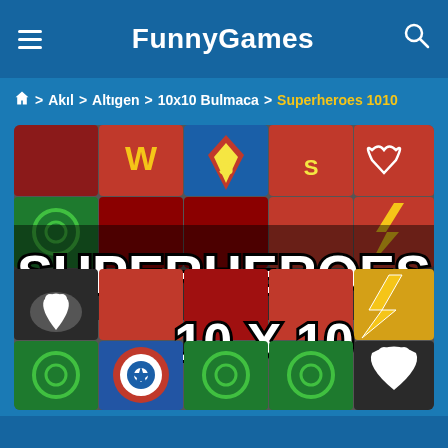FunnyGames
⌂ > Akıl > Altıgen > 10x10 Bulmaca > Superheroes 1010
[Figure (illustration): Superheroes 10x10 puzzle game cover image showing superhero logo tiles (Wonder Woman, Superman, Green Lantern, Flash, Venom, Captain America, etc.) with bold text overlay reading SUPERHEROES 10 X 10]